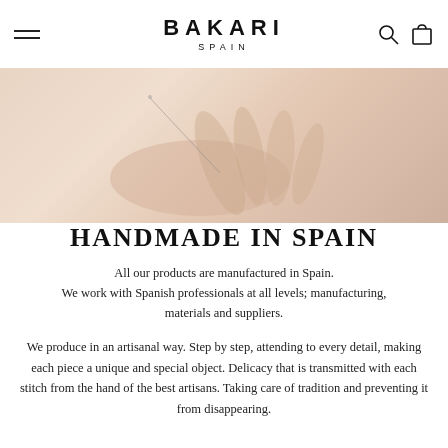BAKARI SPAIN
[Figure (photo): Close-up photo of hands doing artisanal crafting/sewing work, warm beige tones]
HANDMADE IN SPAIN
All our products are manufactured in Spain. We work with Spanish professionals at all levels; manufacturing, materials and suppliers.
We produce in an artisanal way. Step by step, attending to every detail, making each piece a unique and special object. Delicacy that is transmitted with each stitch from the hand of the best artisans. Taking care of tradition and preventing it from disappearing.